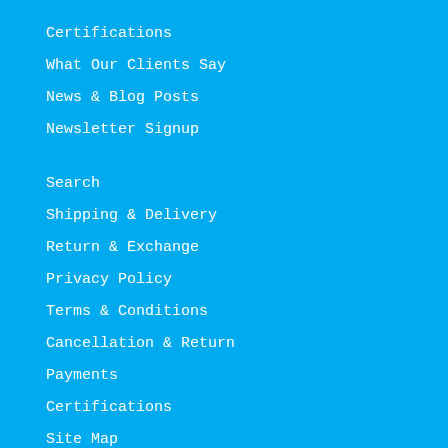Certifications
What Our Clients Say
News & Blog Posts
Newsletter Signup
Search
Shipping & Delivery
Return & Exchange
Privacy Policy
Terms & Conditions
Cancellation & Return
Payments
Certifications
Site Map
Coupon Code
Help